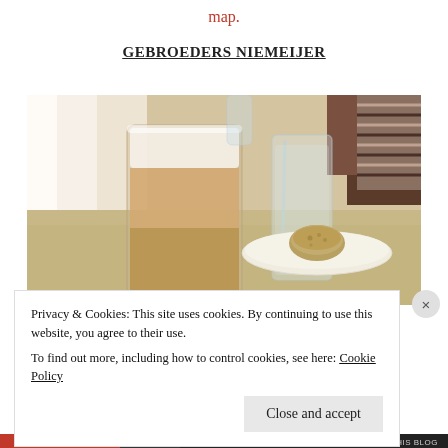map.
GEBROEDERS NIEMEIJER
[Figure (photo): Close-up photo of a tall latte glass and a water glass on a table, with a small cookie/biscuit on a white plate in the background.]
Privacy & Cookies: This site uses cookies. By continuing to use this website, you agree to their use.
To find out more, including how to control cookies, see here: Cookie Policy
Close and accept